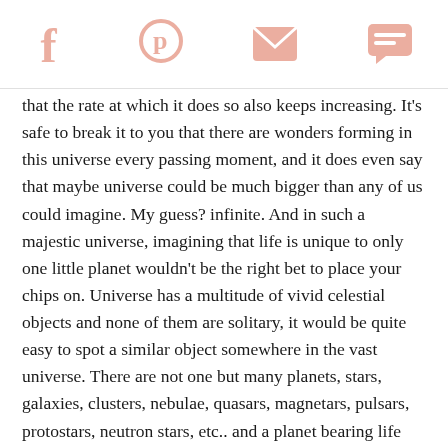[social share icons: Facebook, Pinterest, Email, Chat]
that the rate at which it does so also keeps increasing. It's safe to break it to you that there are wonders forming in this universe every passing moment, and it does even say that maybe universe could be much bigger than any of us could imagine. My guess? infinite. And in such a majestic universe, imagining that life is unique to only one little planet wouldn't be the right bet to place your chips on. Universe has a multitude of vivid celestial objects and none of them are solitary, it would be quite easy to spot a similar object somewhere in the vast universe. There are not one but many planets, stars, galaxies, clusters, nebulae, quasars, magnetars, pulsars, protostars, neutron stars, etc.. and a planet bearing life being just one in estimated 10^24 (1,000,000,000,000,000,000,000,000) planets out there in the observable universe, it's blown out of proportions.